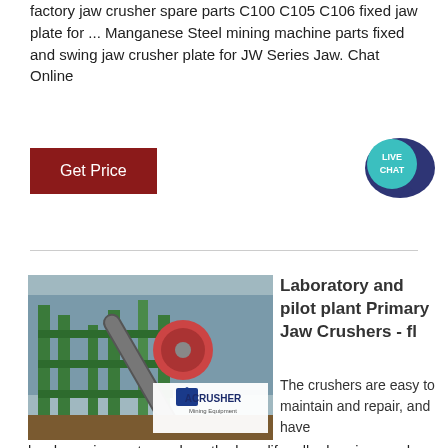factory jaw crusher spare parts C100 C105 C106 fixed jaw plate for ... Manganese Steel mining machine parts fixed and swing jaw crusher plate for JW Series Jaw. Chat Online
[Figure (other): Dark red 'Get Price' button]
[Figure (other): Live Chat speech bubble icon in teal/dark blue]
[Figure (photo): Photo of green industrial jaw crusher machinery with ACRUSHER Mining Equipment logo overlay]
Laboratory and pilot plant Primary Jaw Crushers - fl
The crushers are easy to maintain and repair, and have hard-wearing parts, such as the long-life roller bearings and strong jaw plates. These decrease downtime and maintenance costs – important factors that affect your